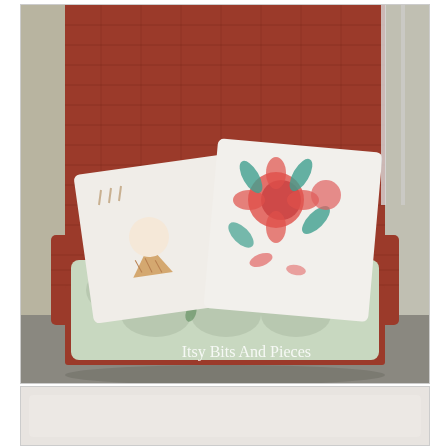[Figure (photo): A red/terracotta painted wicker armchair with a floral cushion seat and two decorative pillows — one with an embroidered ice cream cone design, one with a floral print in pink and teal. The chair is photographed indoors. Watermark text reads 'Itsy Bits And Pieces' in white serif font near the bottom right of the image.]
[Figure (photo): Partial view of a second image below, showing a light grey/off-white background — the bottom portion is cropped.]